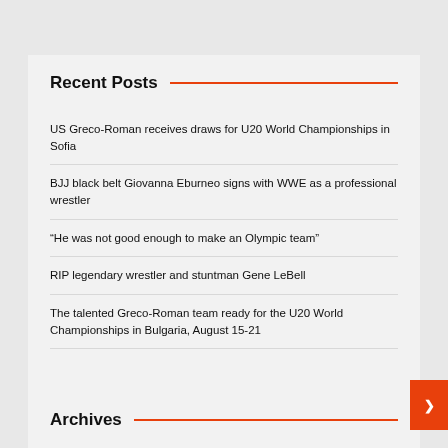Recent Posts
US Greco-Roman receives draws for U20 World Championships in Sofia
BJJ black belt Giovanna Eburneo signs with WWE as a professional wrestler
“He was not good enough to make an Olympic team”
RIP legendary wrestler and stuntman Gene LeBell
The talented Greco-Roman team ready for the U20 World Championships in Bulgaria, August 15-21
Archives